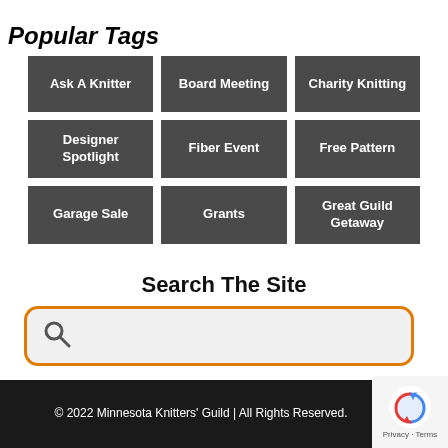Popular Tags
Ask A Knitter
Board Meeting
Charity Knitting
Designer Spotlight
Fiber Event
Free Pattern
Garage Sale
Grants
Great Guild Getaway
Search The Site
© 2022 Minnesota Knitters' Guild | All Rights Reserved.